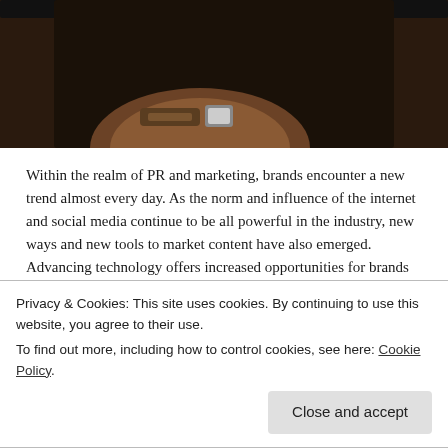[Figure (photo): A hand holding a smartphone against a dark brown/wooden surface. The top of the phone screen is visible with a dark status bar.]
Within the realm of PR and marketing, brands encounter a new trend almost every day. As the norm and influence of the internet and social media continue to be all powerful in the industry, new ways and new tools to market content have also emerged. Advancing technology offers increased opportunities for brands but also new hurdles to clear.
Triumphing over fresh trends and competition is video, which sits comfortably on the throne – as the most
Privacy & Cookies: This site uses cookies. By continuing to use this website, you agree to their use.
To find out more, including how to control cookies, see here: Cookie Policy
and Instagram generate a whopping 300% more traffic